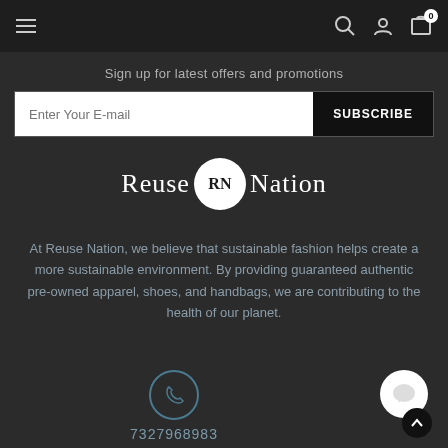Navigation bar with hamburger menu, search, user, and cart icons
Sign up for latest offers and promotions
Enter Your E-mail  SUBSCRIBE
[Figure (logo): Reuse Nation logo with RN monogram in a white circle between the words Reuse and Nation in serif white text]
At Reuse Nation, we believe that sustainable fashion helps create a more sustainable environment. By providing guaranteed authentic pre-owned apparel, shoes, and handbags, we are contributing to the health of our planet.
7327968983